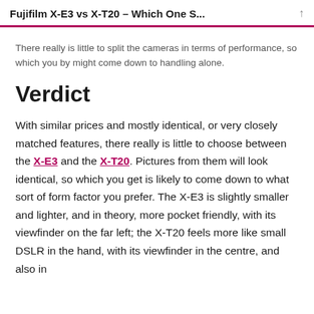Fujifilm X-E3 vs X-T20 – Which One S...
There really is little to split the cameras in terms of performance, so which you by might come down to handling alone.
Verdict
With similar prices and mostly identical, or very closely matched features, there really is little to choose between the X-E3 and the X-T20. Pictures from them will look identical, so which you get is likely to come down to what sort of form factor you prefer. The X-E3 is slightly smaller and lighter, and in theory, more pocket friendly, with its viewfinder on the far left; the X-T20 feels more like small DSLR in the hand, with its viewfinder in the centre, and also in